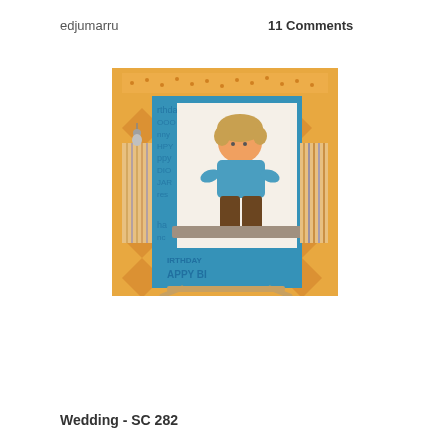edjumarru
11 Comments
[Figure (photo): A handmade greeting card displayed on a small wooden easel. The card features a cartoon illustration of a young boy with blonde hair sitting on a surface, wearing a blue shirt and brown pants. The card has an orange patterned background with blue decorative strips and 'Happy Birthday' text elements. A small metal charm hangs on the left side of the card.]
Wedding - SC 282